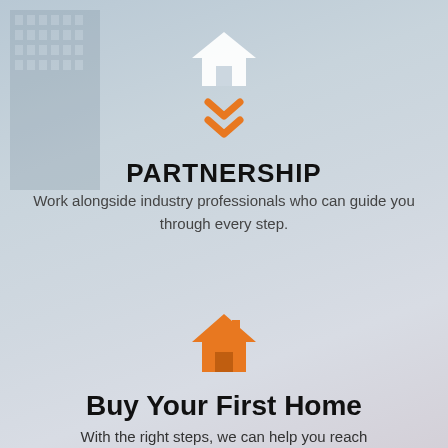[Figure (illustration): White house icon at top center]
[Figure (illustration): Orange double chevron/down arrow icon below white house]
PARTNERSHIP
Work alongside industry professionals who can guide you through every step.
[Figure (illustration): Orange house icon in lower section]
Buy Your First Home
With the right steps, we can help you reach